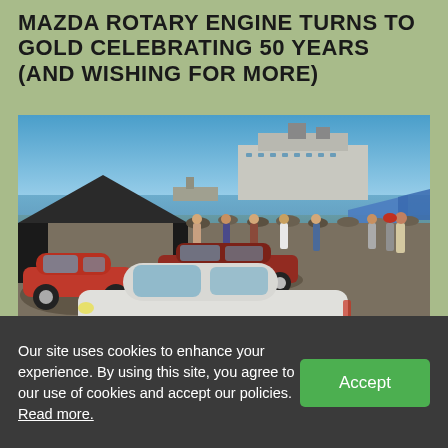MAZDA ROTARY ENGINE TURNS TO GOLD CELEBRATING 50 YEARS (AND WISHING FOR MORE)
[Figure (photo): Outdoor car show with multiple Mazda rotary engine vehicles including a prominent white classic Mazda sports car in the foreground. Red sports cars visible in background, crowd of people, large ship in harbor behind, blue sky, event tents.]
Our site uses cookies to enhance your experience. By using this site, you agree to our use of cookies and accept our policies. Read more.